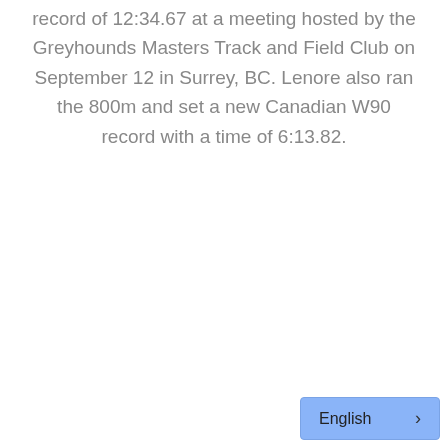record of 12:34.67 at a meeting hosted by the Greyhounds Masters Track and Field Club on September 12 in Surrey, BC. Lenore also ran the 800m and set a new Canadian W90 record with a time of 6:13.82.
English ›